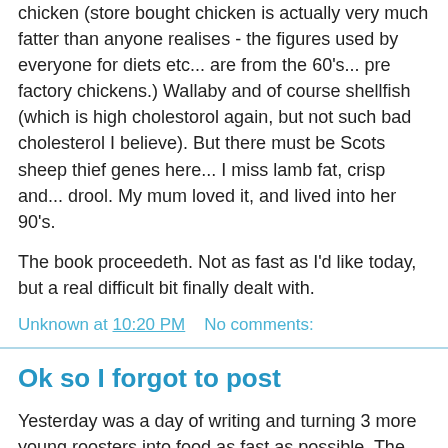chicken (store bought chicken is actually very much fatter than anyone realises - the figures used by everyone for diets etc... are from the 60's... pre factory chickens.) Wallaby and of course shellfish (which is high cholestorol again, but not such bad cholesterol I believe). But there must be Scots sheep thief genes here... I miss lamb fat, crisp and... drool. My mum loved it, and lived into her 90's.
The book proceedeth. Not as fast as I'd like today, but a real difficult bit finally dealt with.
Unknown at 10:20 PM   No comments:
Ok so I forgot to post
Yesterday was a day of writing and turning 3 more young roosters into food as fast as possible. The first time we did this it took us 3 hours for 5 chickens... I did yesterday's alone (trying to get back to work in a hurry) 3 in 45 minutes. So practice does help. It also marked the day when I first got heated about something in Australian politics. The ALP